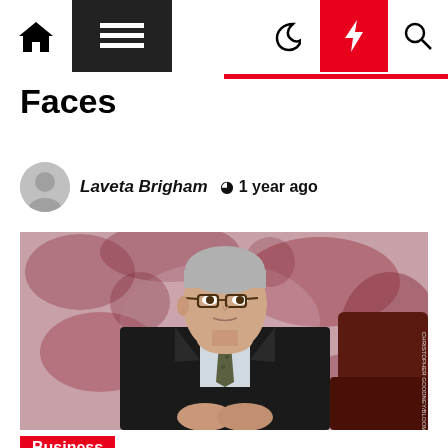Navigation bar with home, menu, moon, flash, and search icons
Faces
Laveta Brigham  1 year ago
[Figure (photo): A middle-aged man with glasses wearing a dark suit and patterned tie, seated in a dark leather chair against a decorative pink/maroon patterned background. Photo credit: CHRISTOPHER GOODNEY/BLOOMBERG/GETTY IMAGES]
Business